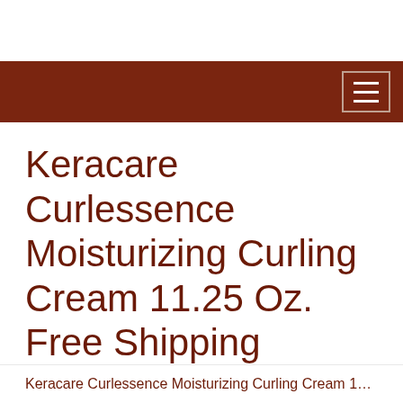Keracare Curlessence Moisturizing Curling Cream 11.25 Oz. Free Shipping
Keracare Curlessence Moisturizing Curling Cream 11.25